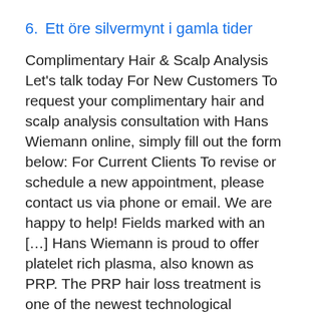6. Ett öre silvermynt i gamla tider
Complimentary Hair & Scalp Analysis Let's talk today For New Customers To request your complimentary hair and scalp analysis consultation with Hans Wiemann online, simply fill out the form below: For Current Clients To revise or schedule a new appointment, please contact us via phone or email. We are happy to help! Fields marked with an […] Hans Wiemann is proud to offer platelet rich plasma, also known as PRP. The PRP hair loss treatment is one of the newest technological innovations in the hair restoration industry. PRP works by amplifying the body's natural healing ability, helping to regrow lost or thinning hair. We are not ready yet Our store will be available soon.